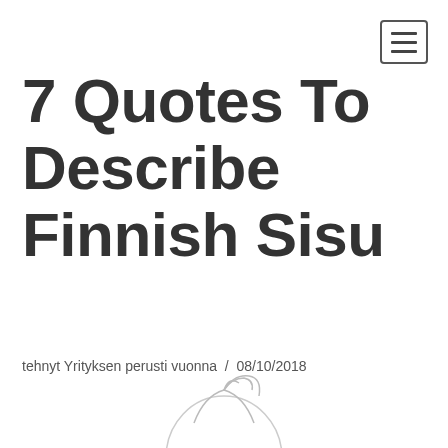[Figure (other): Hamburger menu icon button with three horizontal lines inside a rounded rectangle border]
7 Quotes To Describe Finnish Sisu
tehnyt Yrityksen perusti vuonna / 08/10/2018
[Figure (illustration): Partial line drawing illustration of a figure, showing top of head/hair, visible at bottom of page]